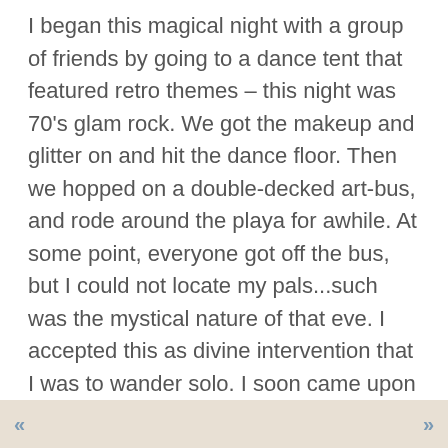I began this magical night with a group of friends by going to a dance tent that featured retro themes – this night was 70's glam rock. We got the makeup and glitter on and hit the dance floor. Then we hopped on a double-decked art-bus, and rode around the playa for awhile. At some point, everyone got off the bus, but I could not locate my pals...such was the mystical nature of that eve. I accepted this as divine intervention that I was to wander solo. I soon came upon a tent filled with frenetic music and dancers. There was a beautiful blonde woman standing before me in a fuzzy bikini. Her eyes met mine and we exchanged a few words, something about my not having a Burning Man kiss yet this year. The next thing I knew, she embraced me and gave me a soulful deep tongue kiss – I could feel it all the way to my toes! I bowed to her and drifted off to the dance floor, high on the electricity of the
« »